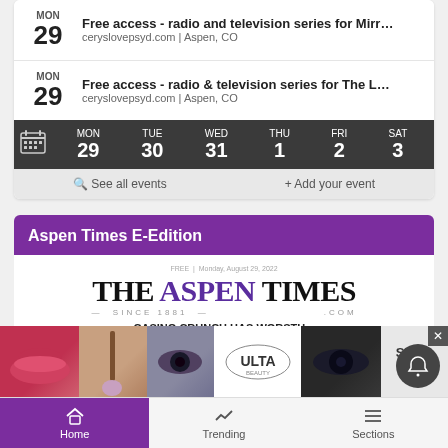MON 29 — Free access - radio and television series for Mirr… | ceryslovepsyd.com | Aspen, CO
MON 29 — Free access - radio & television series for The L… | ceryslovepsyd.com | Aspen, CO
[Figure (screenshot): Calendar week navigation bar showing MON 29, TUE 30, WED 31, THU 1, FRI 2, SAT 3]
See all events | + Add your event
Aspen Times E-Edition
[Figure (screenshot): The Aspen Times newspaper masthead showing title THE ASPEN TIMES, SINCE 1881, .COM]
[Figure (screenshot): ULTA Beauty advertisement banner with makeup imagery and SHOP NOW call to action]
Home | Trending | Sections